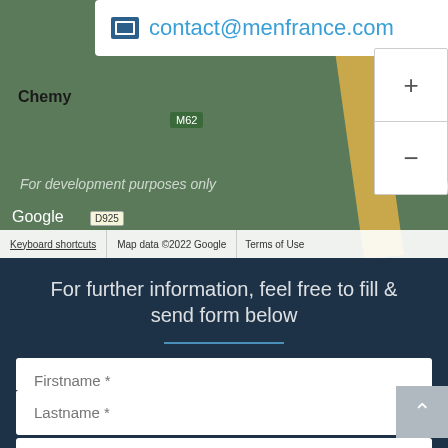[Figure (map): Google Maps screenshot showing a region near Chemy with road M62 and D925, overlaid with a popup showing contact@menfrance.com email, zoom controls (+/-), and Google attribution. Text reads 'For development purposes only'. Map data ©2022 Google.]
For further information, feel free to fill & send form below
Firstname *
Function
Lastname *
company